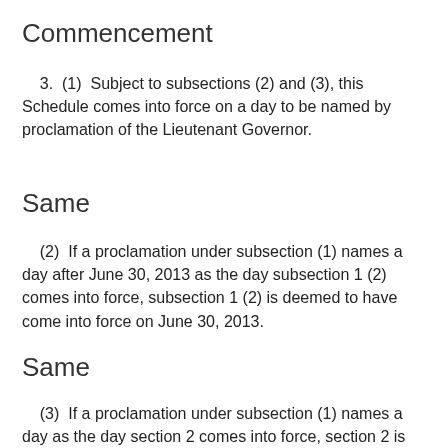Commencement
3.  (1)  Subject to subsections (2) and (3), this Schedule comes into force on a day to be named by proclamation of the Lieutenant Governor.
Same
(2)  If a proclamation under subsection (1) names a day after June 30, 2013 as the day subsection 1 (2) comes into force, subsection 1 (2) is deemed to have come into force on June 30, 2013.
Same
(3)  If a proclamation under subsection (1) names a day as the day section 2 comes into force, section 2 is deemed to have come into force on June 30, 2011.